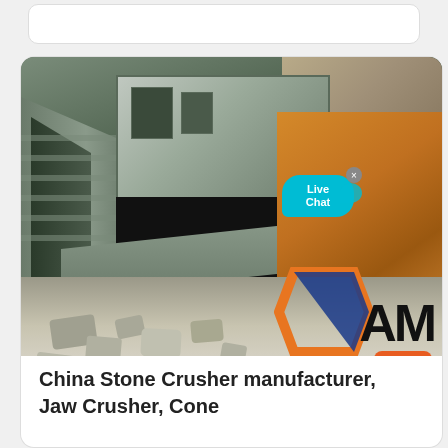[Figure (photo): Aerial view of a stone crushing industrial facility with metal conveyor structures, a large amber/orange hopper block, crushed stone/gravel at the bottom, and a company logo (AM) in the lower right corner. A 'Live Chat' bubble overlay is visible in the upper right area of the image.]
China Stone Crusher manufacturer, Jaw Crusher, Cone